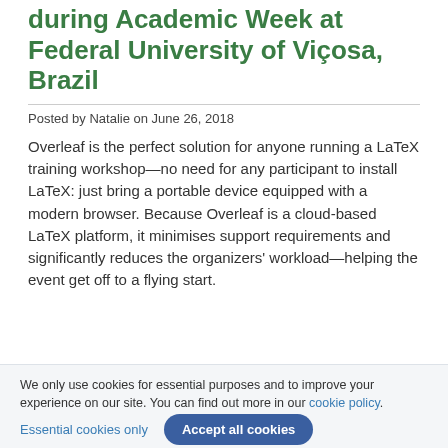during Academic Week at Federal University of Viçosa, Brazil
Posted by Natalie on June 26, 2018
Overleaf is the perfect solution for anyone running a LaTeX training workshop—no need for any participant to install LaTeX: just bring a portable device equipped with a modern browser. Because Overleaf is a cloud-based LaTeX platform, it minimises support requirements and significantly reduces the organizers' workload—helping the event get off to a flying start.
We only use cookies for essential purposes and to improve your experience on our site. You can find out more in our cookie policy.
Essential cookies only
Accept all cookies